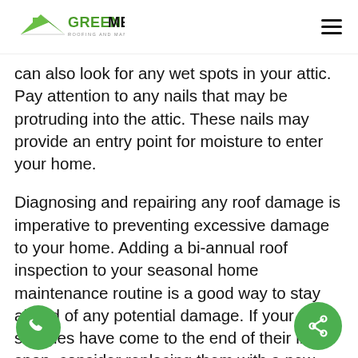GreenMetal Roofing and Manufacturing Inc.
can also look for any wet spots in your attic. Pay attention to any nails that may be protruding into the attic. These nails may provide an entry point for moisture to enter your home.
Diagnosing and repairing any roof damage is imperative to preventing excessive damage to your home. Adding a bi-annual roof inspection to your seasonal home maintenance routine is a good way to stay ahead of any potential damage. If your old shingles have come to the end of their life span, consider replacing them with a new metal roofing system. Metal roofing has a lifespan of 40+ years, meaning that this quite possibly may be the last roof replacement you will ever need!